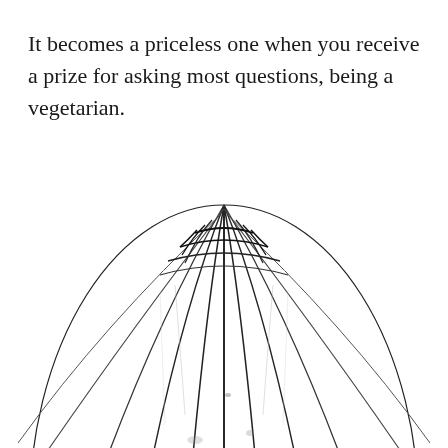It becomes a priceless one when you receive a prize for asking most questions, being a vegetarian.
[Figure (illustration): Black and white sketch/illustration of a spherical ribbed object (resembling a melon or decorative dome) with curved vertical lines converging at the top, shown from above the midpoint so the bottom is cropped.]